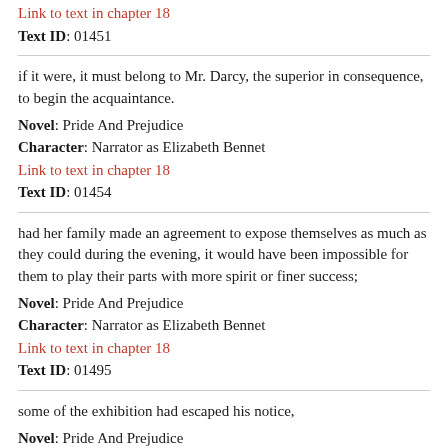Link to text in chapter 18
Text ID: 01451
if it were, it must belong to Mr. Darcy, the superior in consequence, to begin the acquaintance.
Novel: Pride And Prejudice
Character: Narrator as Elizabeth Bennet
Link to text in chapter 18
Text ID: 01454
had her family made an agreement to expose themselves as much as they could during the evening, it would have been impossible for them to play their parts with more spirit or finer success;
Novel: Pride And Prejudice
Character: Narrator as Elizabeth Bennet
Link to text in chapter 18
Text ID: 01495
some of the exhibition had escaped his notice,
Novel: Pride And Prejudice
Character: Narrator as Elizabeth Bennet